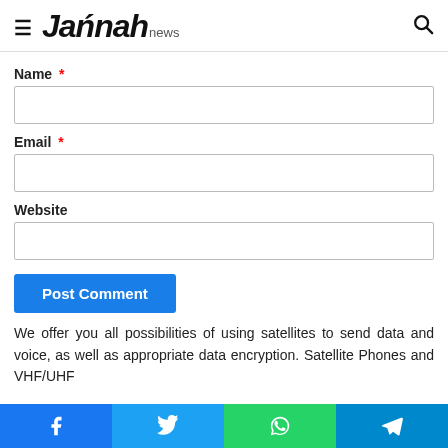Jannah news
Name *
Email *
Website
Post Comment
We offer you all possibilities of using satellites to send data and voice, as well as appropriate data encryption. Satellite Phones and VHF/UHF
Facebook Twitter WhatsApp Telegram